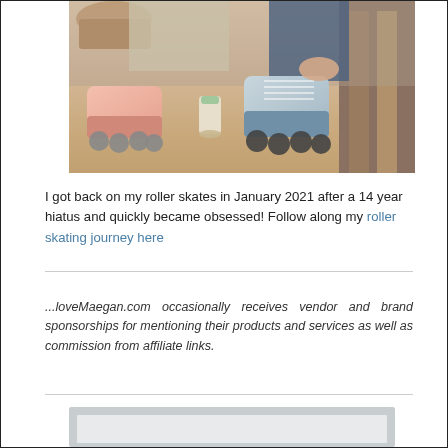[Figure (photo): Photo of two people sitting on a wooden floor wearing roller skates — one pair pink/peach and one pair light blue/gray — with a Starbucks iced drink between them and various items in the background.]
I got back on my roller skates in January 2021 after a 14 year hiatus and quickly became obsessed! Follow along my roller skating journey here
...loveMaegan.com occasionally receives vendor and brand sponsorships for mentioning their products and services as well as commission from affiliate links.